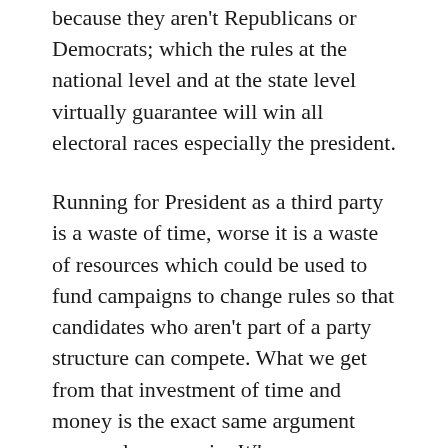because they aren't Republicans or Democrats; which the rules at the national level and at the state level virtually guarantee will win all electoral races especially the president.
Running for President as a third party is a waste of time, worse it is a waste of resources which could be used to fund campaigns to change rules so that candidates who aren't part of a party structure can compete. What we get from that investment of time and money is the exact same argument over and over again. Why are you voting for Democrats and Republicans?
First admit that there is a problem and that problem is the electoral rules themselves. Then find a road map for changing this rules...